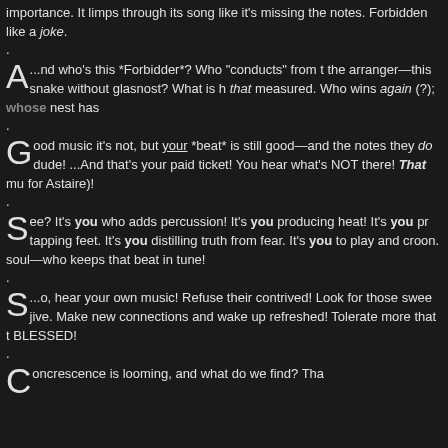importance. It limps through its song like it's missing the notes. Forbidden like a joke.
.
...And who's this *Forbidder*? Who "conducts" from the arranger—this snake without glasnost? What is that measured. Who wins again (?); whose nest has
.
Good music it's not, but your *beat* is still good—and the notes they do dude! ...And that's your paid ticket! You hear what's NOT there! That mus for Astaire)!
.
See? It's you who adds percussion! It's you producing heat! It's you pr tapping feet. It's you distilling truth from fear. It's you to play and croon. soul—who keeps that beat in tune!
.
...So, hear your own music! Refuse their contrived! Look for those swee jive. Make new connections and wake up refreshed! Tolerate more that t BLESSED!
.
Concrescence is looming, and what do we find? Tha